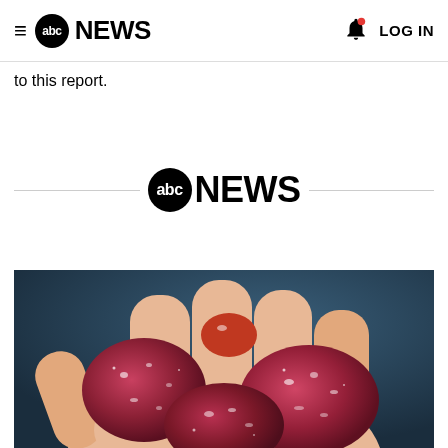abc NEWS  LOG IN
to this report.
[Figure (logo): ABC News logo centered with horizontal divider lines on either side]
[Figure (photo): Close-up photo of a hand holding multiple red/purple sugar-coated gummy candies against a dark blue background]